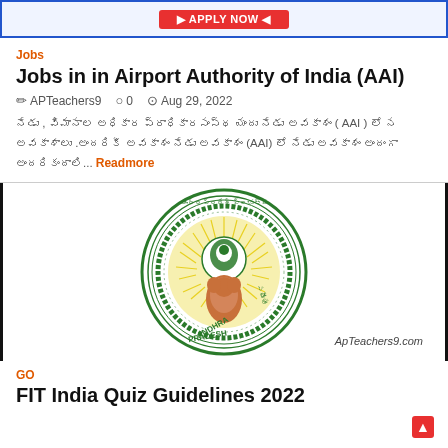[Figure (screenshot): Top banner ad with red button]
Jobs
Jobs in in Airport Authority of India (AAI)
APTeachers9   0   Aug 29, 2022
Telugu text about Airport Authority of India (AAI)... Readmore
[Figure (logo): Andhra Pradesh government seal/emblem with 'ANDHRA PRADESH' text and ApTeachers9.com watermark]
GO
FIT India Quiz Guidelines 2022